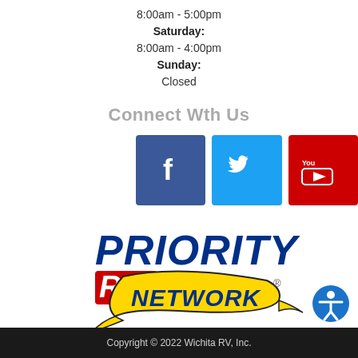8:00am - 5:00pm
Saturday:
8:00am - 4:00pm
Sunday:
Closed
Connect Wth Us
[Figure (logo): Facebook, Twitter, and YouTube social media icon buttons]
[Figure (logo): Priority RV Network logo with blue text, red RV badge, and yellow ribbon banner]
[Figure (logo): Accessibility icon button]
Copyright © 2022 Wichita RV, Inc.